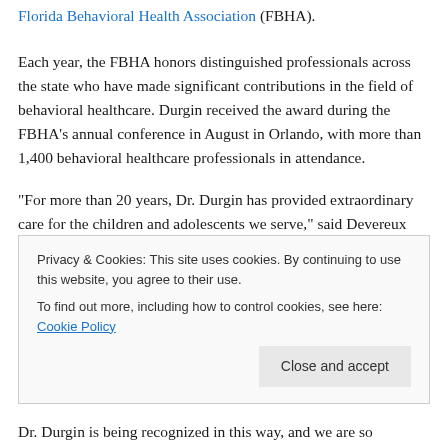Florida Behavioral Health Association (FBHA).
Each year, the FBHA honors distinguished professionals across the state who have made significant contributions in the field of behavioral healthcare. Durgin received the award during the FBHA's annual conference in August in Orlando, with more than 1,400 behavioral healthcare professionals in attendance.
“For more than 20 years, Dr. Durgin has provided extraordinary care for the children and adolescents we serve,” said Devereux Florida Executive Director Michelle
Privacy & Cookies: This site uses cookies. By continuing to use this website, you agree to their use.
To find out more, including how to control cookies, see here: Cookie Policy
Dr. Durgin is being recognized in this way, and we are so